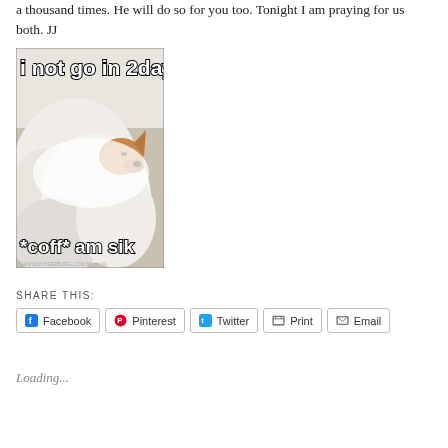a thousand times.  He will do so for you too.  Tonight I am praying for us both.  JJ
[Figure (photo): Meme image of a dog wrapped in white blankets with text overlay: 'i not go in 2day' and '*coff* am sik', with watermark 'ICANHASCHEEZBURG.COM BY % i %']
SHARE THIS:
Facebook  Pinterest  Twitter  Print  Email
Loading...